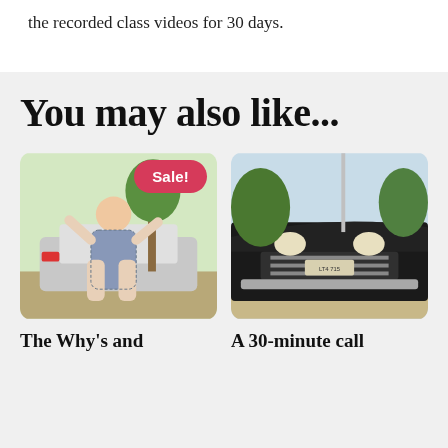the recorded class videos for 30 days.
You may also like...
[Figure (photo): A plus-size woman in a blue checkered halter dress standing in front of a white SUV outdoors, with a 'Sale!' badge overlay]
[Figure (photo): Front view of a classic black vintage car (appears to be a 1960s model) parked on pavement with trees in background]
The Why's and
A 30-minute call